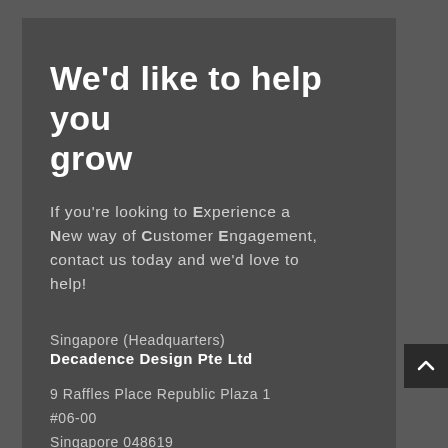We'd like to help you grow
If you're looking to Experience a New way of Customer Engagement, contact us today and we'd love to help!
Singapore (Headquarters)
Decadence Design Pte Ltd
9 Raffles Place Republic Plaza 1
#06-00
Singapore 048619
T +65 3163 4653
prominence [at]